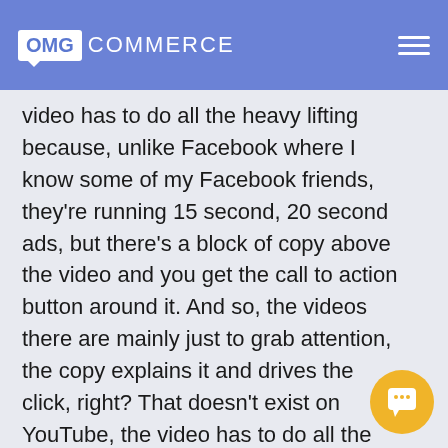OMG COMMERCE
video has to do all the heavy lifting because, unlike Facebook where I know some of my Facebook friends, they're running 15 second, 20 second ads, but there's a block of copy above the video and you get the call to action button around it. And so, the videos there are mainly just to grab attention, the copy explains it and drives the click, right? That doesn't exist on YouTube, the video has to do all the work. And it's really a different pace.
Brett Curry:
And so, another analogy that I really like is movie trailers. Think about movie trailers. And I want to kind of picture the typical story arc. So actually,